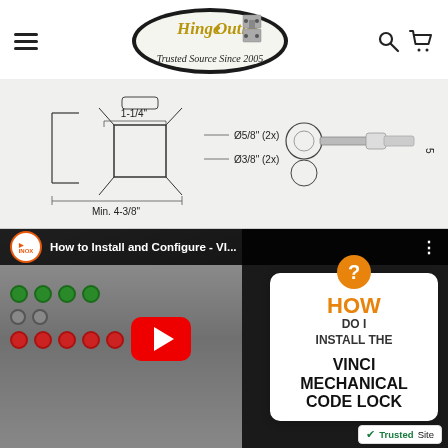Hinge Outlet — Trusted Source Since 2005
[Figure (engineering-diagram): Technical engineering diagram showing bracket dimensions: 1-1/4", Min. 4-3/8", Ø5/8" (2x), Ø3/8" (2x)]
[Figure (screenshot): YouTube video thumbnail: 'How to Install and Configure - VI...' with play button, showing a Vinci Mechanical Code Lock installation video. Info card overlay reads: HOW DO I INSTALL THE VINCI MECHANICAL CODE LOCK]